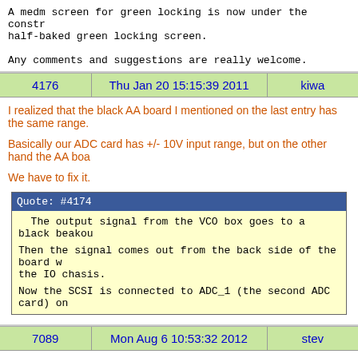A medm screen for green locking is now under the constr half-baked green locking screen.

Any comments and suggestions are really welcome.
| 4176 | Thu Jan 20 15:15:39 2011 | kiwa |
| --- | --- | --- |
I realized that the black AA board I mentioned on the last entry has the same range.
Basically our ADC card has +/- 10V input range, but on the other hand the AA boa
We have to fix it.
Quote: #4174
The output signal from the VCO box goes to a black beakou
Then the signal comes out from the back side of the board w the IO chasis.
Now the SCSI is connected to ADC_1 (the second ADC card) on
| 7089 | Mon Aug 6 10:53:32 2012 | stev |
| --- | --- | --- |
The power outage did not have any effect on the vacuum